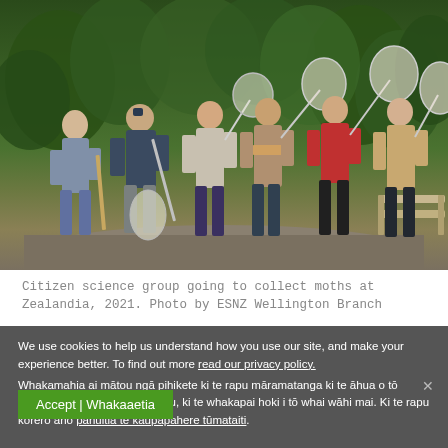[Figure (photo): Group of six people standing on a gravel path in a forested area, holding butterfly/moth collection nets. They are dressed in outdoor clothing. Trees and greenery visible in background.]
Citizen science group going to collect moths at Zealandia, 2021. Photo by ESNZ Wellington Branch
We use cookies to help us understand how you use our site, and make your experience better. To find out more read our privacy policy. Whakamahia ai mātou ngā pihikete ki te rapu māramatanga ki te āhua o tō whakamahi i tēnei paetukutuku, ki te whakapai hoki i tō whai wāhi mai. Ki te rapu kōrero anō pānuitia te kaupapahere tūmataiti.
Accept | Whakaaetia